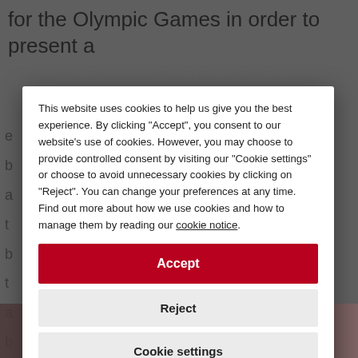for the Olympic Games in order to present a cohesive overview of her work that serves to
This website uses cookies to help us give you the best experience. By clicking "Accept", you consent to our website's use of cookies. However, you may choose to provide controlled consent by visiting our "Cookie settings" or choose to avoid unnecessary cookies by clicking on "Reject". You can change your preferences at any time. Find out more about how we use cookies and how to manage them by reading our cookie notice.
Accept
Reject
Cookie settings